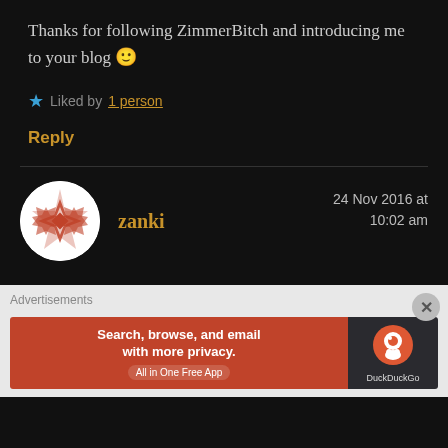Thanks for following ZimmerBitch and introducing me to your blog 🙂
★ Liked by 1 person
Reply
zanki
24 Nov 2016 at 10:02 am
Advertisements
[Figure (screenshot): DuckDuckGo advertisement banner: 'Search, browse, and email with more privacy. All in One Free App' with DuckDuckGo logo on dark background.]